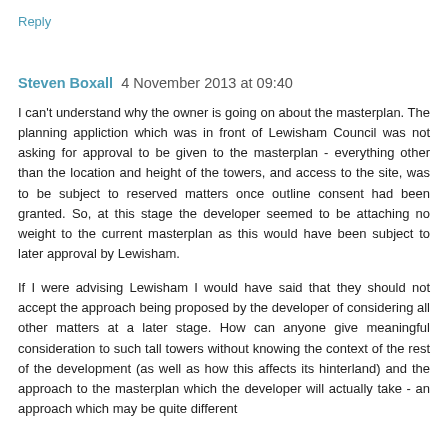Reply
Steven Boxall  4 November 2013 at 09:40
I can't understand why the owner is going on about the masterplan. The planning appliction which was in front of Lewisham Council was not asking for approval to be given to the masterplan - everything other than the location and height of the towers, and access to the site, was to be subject to reserved matters once outline consent had been granted. So, at this stage the developer seemed to be attaching no weight to the current masterplan as this would have been subject to later approval by Lewisham.
If I were advising Lewisham I would have said that they should not accept the approach being proposed by the developer of considering all other matters at a later stage. How can anyone give meaningful consideration to such tall towers without knowing the context of the rest of the development (as well as how this affects its hinterland) and the approach to the masterplan which the developer will actually take - an approach which may be quite different